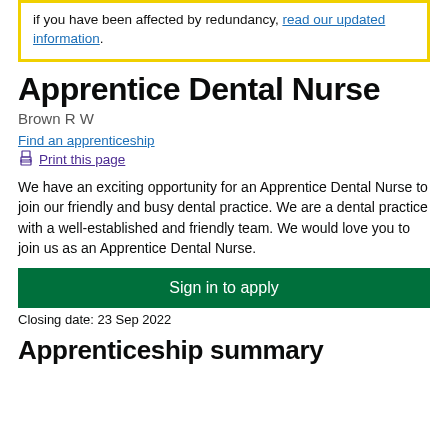if you have been affected by redundancy, read our updated information.
Apprentice Dental Nurse
Brown R W
Find an apprenticeship
Print this page
We have an exciting opportunity for an Apprentice Dental Nurse to join our friendly and busy dental practice. We are a dental practice with a well-established and friendly team. We would love you to join us as an Apprentice Dental Nurse.
Sign in to apply
Closing date: 23 Sep 2022
Apprenticeship summary